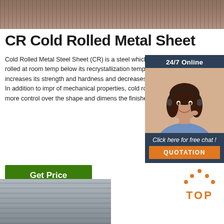[Figure (photo): Top banner photo of wooden/metal textured surface]
CR Cold Rolled Metal Sheet
Cold Rolled Metal Steel Sheet (CR) is a steel which has been rolled at room temperature, below its recrystallization temperature. This increases its strength and hardness and decreases its ductility. In addition to improving of mechanical properties, cold rolling results in more control over the shape and dimensions of the finished product.
[Figure (photo): Customer service representative with headset - 24/7 online chat widget with quotation button]
[Figure (illustration): Get Price green button]
[Figure (photo): Bottom photo of stacked cold rolled metal sheets]
[Figure (logo): TOP logo with orange dots forming a roof/arrow shape above the word TOP in orange]